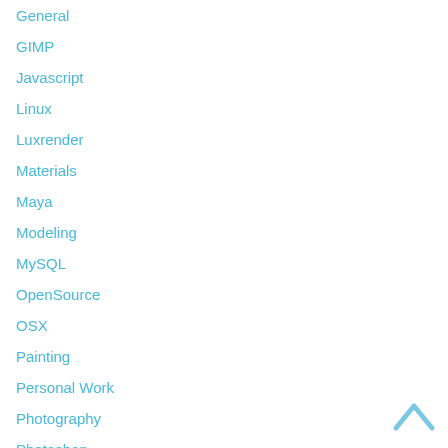General
GIMP
Javascript
Linux
Luxrender
Materials
Maya
Modeling
MySQL
OpenSource
OSX
Painting
Personal Work
Photography
Photoshop
[Figure (illustration): Up arrow chevron icon in light blue, positioned bottom right]